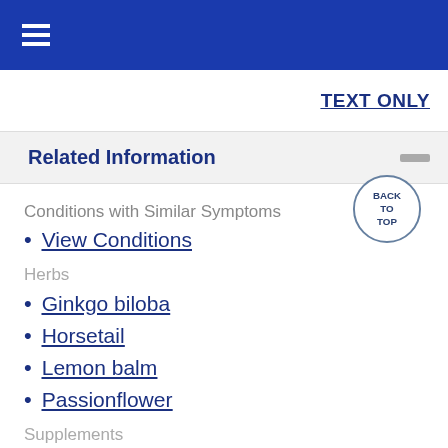≡
TEXT ONLY
Related Information
Conditions with Similar Symptoms
View Conditions
Herbs
Ginkgo biloba
Horsetail
Lemon balm
Passionflower
Supplements